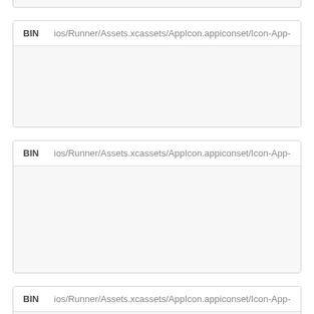BIN ios/Runner/Assets.xcassets/AppIcon.appiconset/Icon-App-
BIN ios/Runner/Assets.xcassets/AppIcon.appiconset/Icon-App-
BIN ios/Runner/Assets.xcassets/AppIcon.appiconset/Icon-App-